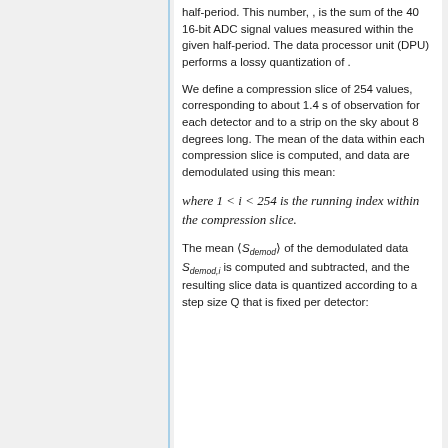half-period. This number, , is the sum of the 40 16-bit ADC signal values measured within the given half-period. The data processor unit (DPU) performs a lossy quantization of .
We define a compression slice of 254 values, corresponding to about 1.4 s of observation for each detector and to a strip on the sky about 8 degrees long. The mean of the data within each compression slice is computed, and data are demodulated using this mean:
where 1 < i < 254 is the running index within the compression slice.
The mean ⟨S_demod⟩ of the demodulated data S_demod,i is computed and subtracted, and the resulting slice data is quantized according to a step size Q that is fixed per detector: